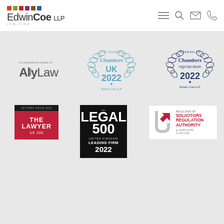[Figure (logo): Edwin Coe LLP Law Firm logo with colored squares and navigation icons]
[Figure (logo): Ally Law - An international member of badge]
[Figure (logo): Chambers UK 2022 Top Ranked badge for Edwin Coe LLP]
[Figure (logo): Chambers High Net Worth 2022 Ranked In badge for Edwin Coe LLP]
[Figure (logo): The Lawyer UK 200 badge]
[Figure (logo): The Legal 500 United Kingdom Leading Firm 2022 badge]
[Figure (logo): Regulated by Solicitors Regulation Authority - Learn More - 21 Aug 2022]